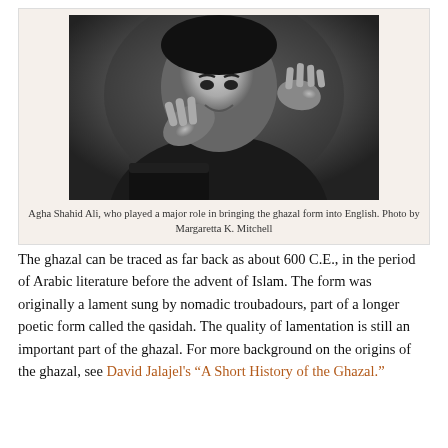[Figure (photo): Black and white portrait photo of Agha Shahid Ali, a man smiling with his hands raised near his face in a thoughtful/expressive pose, wearing dark clothing.]
Agha Shahid Ali, who played a major role in bringing the ghazal form into English. Photo by Margaretta K. Mitchell
The ghazal can be traced as far back as about 600 C.E., in the period of Arabic literature before the advent of Islam. The form was originally a lament sung by nomadic troubadours, part of a longer poetic form called the qasidah. The quality of lamentation is still an important part of the ghazal. For more background on the origins of the ghazal, see David Jalajel's “A Short History of the Ghazal.”